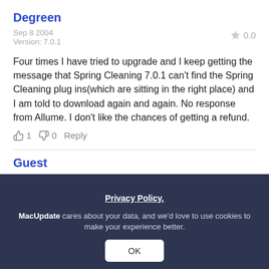Degreen
Sep 8 2004
Version: 7.0.1
★ 0.0
Four times I have tried to upgrade and I keep getting the message that Spring Cleaning 7.0.1 can't find the Spring Cleaning plug ins(which are sitting in the right place) and I am told to download again and again. No response from Allume. I don't like the chances of getting a refund.
👍 1  👎 0  Reply
Guest
Privacy Policy.
MacUpdate cares about your data, and we'd love to use cookies to make your experience better.
Thanks. For some reas... always attribute poor performance to pilot error...tried SC6 and was...